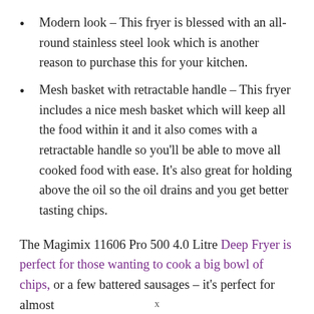Modern look – This fryer is blessed with an all-round stainless steel look which is another reason to purchase this for your kitchen.
Mesh basket with retractable handle – This fryer includes a nice mesh basket which will keep all the food within it and it also comes with a retractable handle so you'll be able to move all cooked food with ease. It's also great for holding above the oil so the oil drains and you get better tasting chips.
The Magimix 11606 Pro 500 4.0 Litre Deep Fryer is perfect for those wanting to cook a big bowl of chips, or a few battered sausages – it's perfect for almost
x